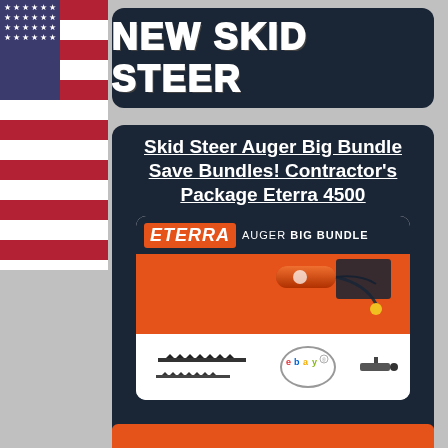[Figure (logo): US flag strip on left side of page]
New Skid Steer
Skid Steer Auger Big Bundle Save Bundles! Contractor's Package Eterra 4500
[Figure (photo): Eterra Auger Big Bundle product image showing auger motor, bits, and accessories on white background with dark header and orange stripe. eBay logo visible. Text: ETERRA AUGER BIG BUNDLE]